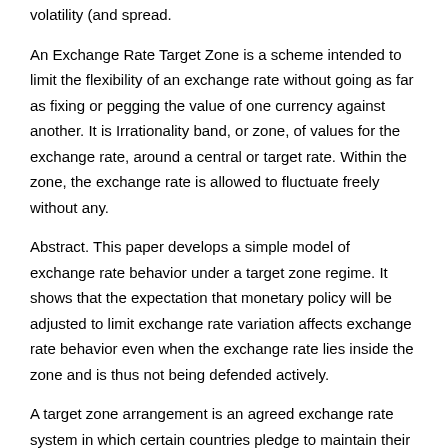volatility (and spread.
An Exchange Rate Target Zone is a scheme intended to limit the flexibility of an exchange rate without going as far as fixing or pegging the value of one currency against another. It is Irrationality band, or zone, of values for the exchange rate, around a central or target rate. Within the zone, the exchange rate is allowed to fluctuate freely without any.
Abstract. This paper develops a simple model of exchange rate behavior under a target zone regime. It shows that the expectation that monetary policy will be adjusted to limit exchange rate variation affects exchange rate behavior even when the exchange rate lies inside the zone and is thus not being defended actively.
A target zone arrangement is an agreed exchange rate system in which certain countries pledge to maintain their currency exchange rate within a specific fluctuation margin or band.
This margins can be set vis-à-vis another currency, a cooperative arrangement (such as the ERMII), or a basket of currencies. In the